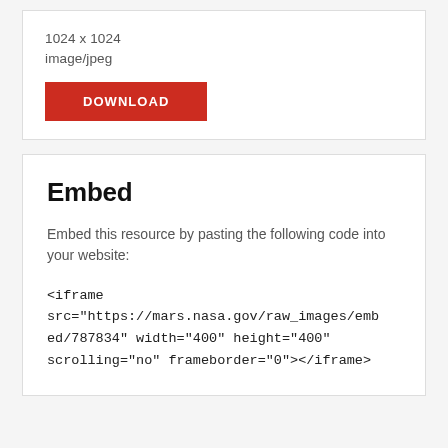1024 x 1024
image/jpeg
DOWNLOAD
Embed
Embed this resource by pasting the following code into your website:
<iframe src="https://mars.nasa.gov/raw_images/embed/787834" width="400" height="400" scrolling="no" frameborder="0"></iframe>